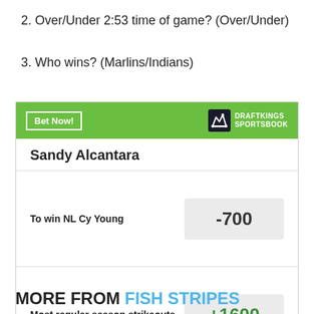2. Over/Under 2:53 time of game? (Over/Under)
3. Who wins? (Marlins/Indians)
[Figure (other): DraftKings Sportsbook widget showing Sandy Alcantara betting odds: To win NL Cy Young -700, Most regular season strikeouts +1600. Includes Bet Now button and DraftKings Sportsbook logo. Disclaimer: Odds/Lines subject to change. See draftkings.com for details.]
MORE FROM FISH STRIPES